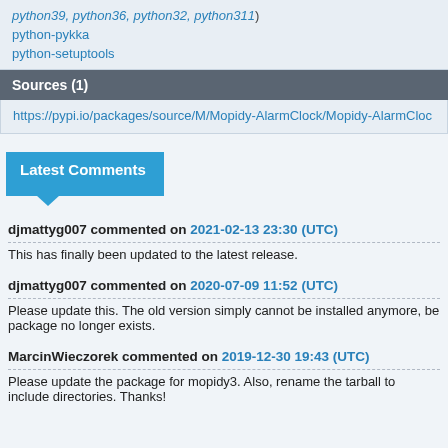python39, python36, python32, python311)
python-pykka
python-setuptools
Sources (1)
https://pypi.io/packages/source/M/Mopidy-AlarmClock/Mopidy-AlarmCloc
Latest Comments
djmattyg007 commented on 2021-02-13 23:30 (UTC)
This has finally been updated to the latest release.
djmattyg007 commented on 2020-07-09 11:52 (UTC)
Please update this. The old version simply cannot be installed anymore, be package no longer exists.
MarcinWieczorek commented on 2019-12-30 19:43 (UTC)
Please update the package for mopidy3. Also, rename the tarball to include directories. Thanks!